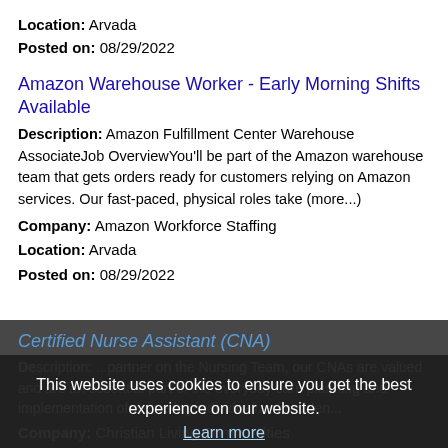Location: Arvada
Posted on: 08/29/2022
Amazon Warehouse Worker - Early Morning Shifts Available
Description: Amazon Fulfillment Center Warehouse AssociateJob OverviewYou'll be part of the Amazon warehouse team that gets orders ready for customers relying on Amazon services. Our fast-paced, physical roles take (more...)
Company: Amazon Workforce Staffing
Location: Arvada
Posted on: 08/29/2022
Certified Nurse Assistant (CNA)
Description: ...partner on the Nursing Team, our CNAs are valued and are an essential part of the everyday care planning and implementation of delivering individualized residen...
Company: Christian Living Communities
Location: Arvada
Posted on: 08/29/2022
This website uses cookies to ensure you get the best experience on our website.
Learn more
Got it!
Retail Sales Associate (Part-Time)
Description: Position Summary AutoZone's Part-Time Retail Sales